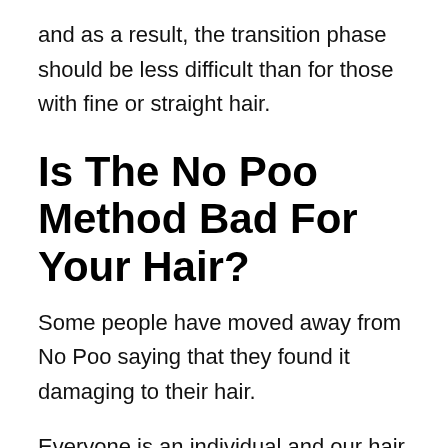and as a result, the transition phase should be less difficult than for those with fine or straight hair.
Is The No Poo Method Bad For Your Hair?
Some people have moved away from No Poo saying that they found it damaging to their hair.
Everyone is an individual and our hair and